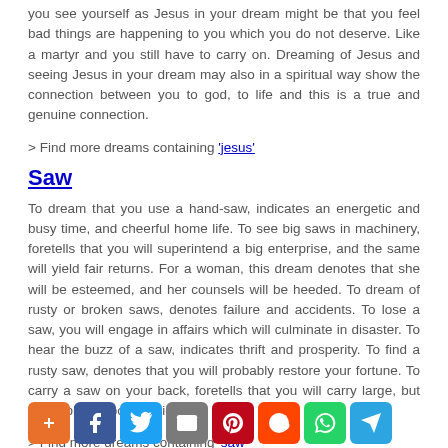you see yourself as Jesus in your dream might be that you feel bad things are happening to you which you do not deserve. Like a martyr and you still have to carry on. Dreaming of Jesus and seeing Jesus in your dream may also in a spiritual way show the connection between you to god, to life and this is a true and genuine connection.
> Find more dreams containing 'jesus'
Saw
To dream that you use a hand-saw, indicates an energetic and busy time, and cheerful home life. To see big saws in machinery, foretells that you will superintend a big enterprise, and the same will yield fair returns. For a woman, this dream denotes that she will be esteemed, and her counsels will be heeded. To dream of rusty or broken saws, denotes failure and accidents. To lose a saw, you will engage in affairs which will culminate in disaster. To hear the buzz of a saw, indicates thrift and prosperity. To find a rusty saw, denotes that you will probably restore your fortune. To carry a saw on your back, foretells that you will carry large, but profitable, responsibilities.
> Find more dreams containing 'saw'
[Figure (other): Social media share buttons row: AddThis, Facebook, Twitter, Email, Pinterest, Reddit, WhatsApp, Telegram]